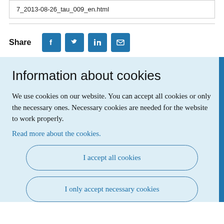7_2013-08-26_tau_009_en.html
Share
Information about cookies
We use cookies on our website. You can accept all cookies or only the necessary ones. Necessary cookies are needed for the website to work properly.
Read more about the cookies.
I accept all cookies
I only accept necessary cookies